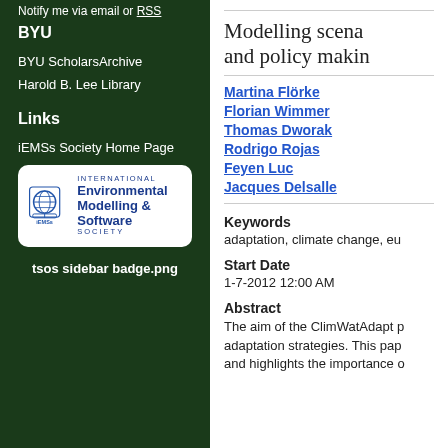Notify me via email or RSS
BYU
BYU ScholarsArchive
Harold B. Lee Library
Links
iEMSs Society Home Page
[Figure (logo): International Environmental Modelling & Software Society (iEMSs) logo badge with globe icon]
tsos sidebar badge.png
Modelling scena and policy makin
Martina Flörke
Florian Wimmer
Thomas Dworak
Rodrigo Rojas
Feyen Luc
Jacques Delsalle
Keywords
adaptation, climate change, eu
Start Date
1-7-2012 12:00 AM
Abstract
The aim of the ClimWatAdapt p adaptation strategies. This pap and highlights the importance o